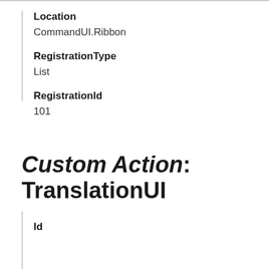Location
CommandUI.Ribbon
RegistrationType
List
RegistrationId
101
Custom Action: TranslationUI
Id